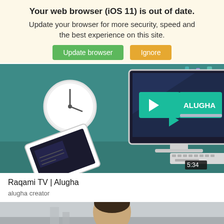Your web browser (iOS 11) is out of date.
Update your browser for more security, speed and the best experience on this site.
Update browser   Ignore
[Figure (screenshot): Screenshot of a video player thumbnail showing a desktop computer illustration with 'ALUGHA' play button overlay, a clock, tablet, keyboard, mouse and purple mug. Duration badge shows 5:34.]
Raqami TV | Alugha
alugha creator
[Figure (photo): Partial photo of a person outdoors, cropped at bottom of page.]